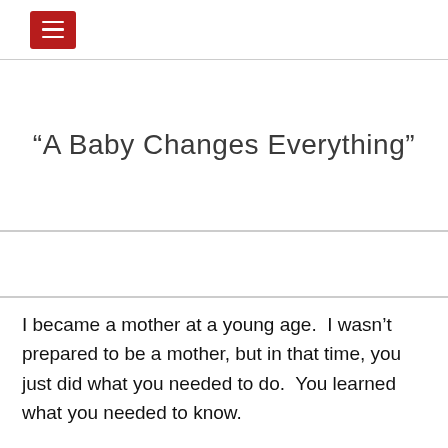[hamburger menu button]
“A Baby Changes Everything”
I became a mother at a young age.  I wasn’t prepared to be a mother, but in that time, you just did what you needed to do.  You learned what you needed to know.